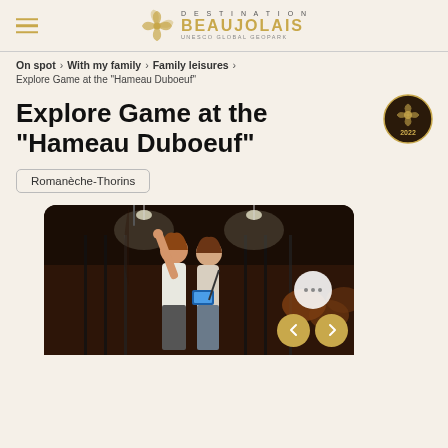Destination Beaujolais UNESCO Global Geopark
On spot > With my family > Family leisures >
Explore Game at the "Hameau Duboeuf"
Explore Game at the "Hameau Duboeuf"
Romanèche-Thorins
[Figure (photo): Two young women inside the Hameau Duboeuf wine museum, one pointing upward while holding a tablet device, with wine barrels visible in the background through iron gates]